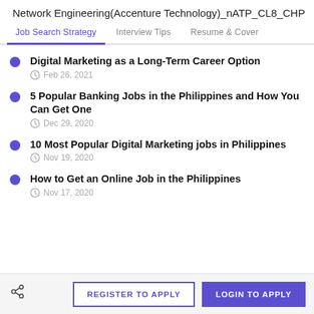Network Engineering(Accenture Technology)_nATP_CL8_CHP
Job Search Strategy | Interview Tips | Resume & Cover
Digital Marketing as a Long-Term Career Option
Feb 26, 2021
5 Popular Banking Jobs in the Philippines and How You Can Get One
Dec 29, 2020
10 Most Popular Digital Marketing jobs in Philippines
Nov 19, 2020
How to Get an Online Job in the Philippines
Nov 17, 2020